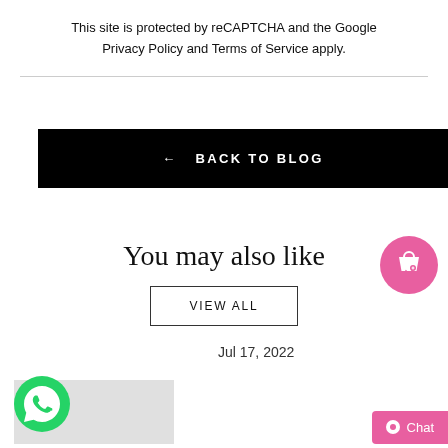This site is protected by reCAPTCHA and the Google Privacy Policy and Terms of Service apply.
← BACK TO BLOG
You may also like
VIEW ALL
Jul 17, 2022
[Figure (illustration): Pink circular shopping bag icon with heart]
[Figure (illustration): Green WhatsApp circular icon]
[Figure (illustration): Pink Chat button with circle icon]